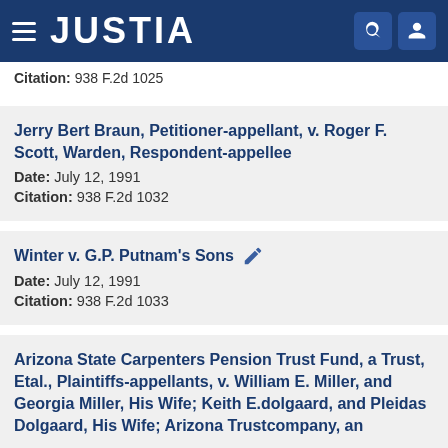JUSTIA
Citation: 938 F.2d 1025
Jerry Bert Braun, Petitioner-appellant, v. Roger F. Scott, Warden, Respondent-appellee
Date: July 12, 1991
Citation: 938 F.2d 1032
Winter v. G.P. Putnam's Sons
Date: July 12, 1991
Citation: 938 F.2d 1033
Arizona State Carpenters Pension Trust Fund, a Trust, Etal., Plaintiffs-appellants, v. William E. Miller, and Georgia Miller, His Wife; Keith E.dolgaard, and Pleidas Dolgaard, His Wife; Arizona Trustcompany, an